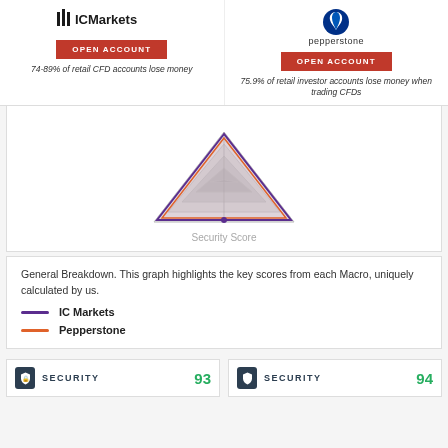[Figure (logo): IC Markets logo]
OPEN ACCOUNT
74-89% of retail CFD accounts lose money
[Figure (logo): Pepperstone logo]
OPEN ACCOUNT
75.9% of retail investor accounts lose money when trading CFDs
[Figure (radar-chart): Radar/spider chart comparing IC Markets and Pepperstone security scores]
Security Score
General Breakdown. This graph highlights the key scores from each Macro, uniquely calculated by us.
IC Markets
Pepperstone
SECURITY 93
SECURITY 94